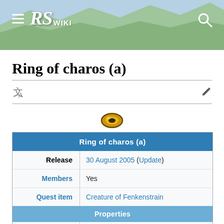RS Wiki
Ring of charos (a)
[Figure (illustration): Gold ring item icon for Ring of charos (a) — a donut-shaped golden ring with a dark center eye]
| Field | Value |
| --- | --- |
| Ring of charos (a) |  |
| Release | 30 August 2005 (Update) |
| Members | Yes |
| Quest item | Creature of Fenkenstrain |
| Properties |  |
| Tradeable | No |